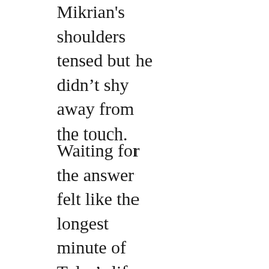Mikrian's shoulders tensed but he didn't shy away from the touch.
Waiting for the answer felt like the longest minute of Tyler's life. “Negative,” the computer answered,